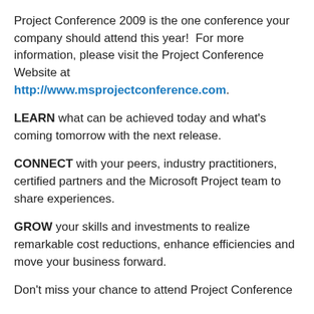Project Conference 2009 is the one conference your company should attend this year!  For more information, please visit the Project Conference Website at http://www.msprojectconference.com.
LEARN what can be achieved today and what’s coming tomorrow with the next release.
CONNECT with your peers, industry practitioners, certified partners and the Microsoft Project team to share experiences.
GROW your skills and investments to realize remarkable cost reductions, enhance efficiencies and move your business forward.
Don’t miss your chance to attend Project Conference